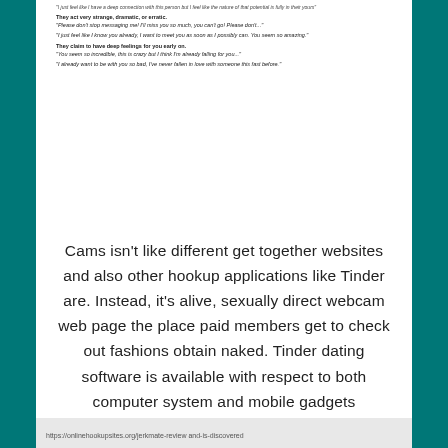They act very strange, dramatic, or erratic.
"Please don't stop messaging me! I'll miss you so much, you can't go! Please don't..."

"I just feel like I know you already, I want to meet you as soon as I possibly can. You seem so amazing."

They claim to have deep feelings for you early on.
"You seem so incredible, this is crazy but I think I'm already falling for you..."

"I already want to be with you so bad, I've never fallen in love with someone this fast before."
Cams isn't like different get together websites and also other hookup applications like Tinder are. Instead, it's alive, sexually direct webcam web page the place paid members get to check out fashions obtain naked. Tinder dating software is available with respect to both computer system and mobile gadgets
https://onlinehookupsites.org/jerkmate-review and-is-discovered